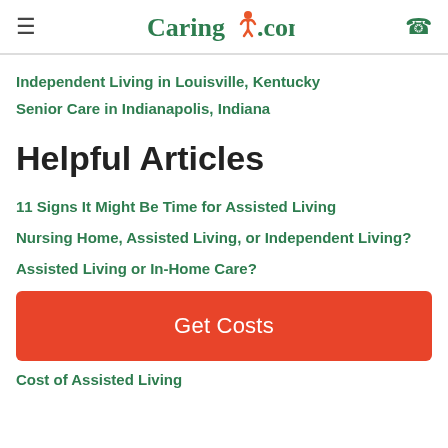Caring.com
Independent Living in Louisville, Kentucky
Senior Care in Indianapolis, Indiana
Helpful Articles
11 Signs It Might Be Time for Assisted Living
Nursing Home, Assisted Living, or Independent Living?
Assisted Living or In-Home Care?
Get Costs
Cost of Assisted Living